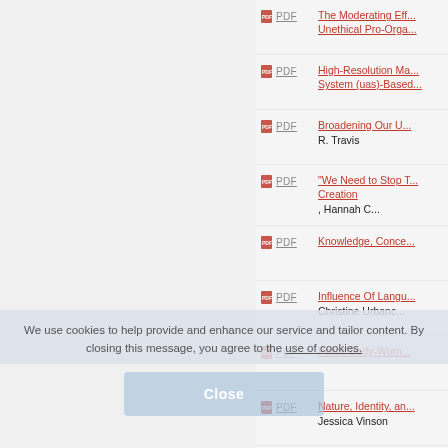PDF  The Moderating Eff... Unethical Pro-Orga...
PDF  High-Resolution Ma... System (uas)-Based...
PDF  Broadening Our U... R. Travis
PDF  "We Need to Stop T... Creation, Hannah C...
PDF  Knowledge, Conce...
PDF  Influence Of Langu... Christine Urbanc...
PDF  Police Body-Worn...
PDF  Nature, Identity, an... Jessica Vinson
PDF  Development Of 3...
We use cookies to help provide and enhance our service and tailor content. By closing this message, you agree to the use of cookies.
Close